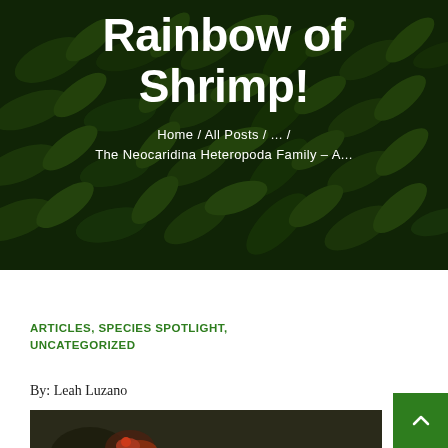[Figure (photo): Dark green leafy plant background with overlay, used as hero image for article header]
Rainbow of Shrimp!
Home / All Posts / ... / The Neocaridina Heteropoda Family – A...
ARTICLES, SPECIES SPOTLIGHT, UNCATEGORIZED
By: Leah Luzano
[Figure (photo): Photo of a shrimp, partially visible, dark background with reddish shrimp]